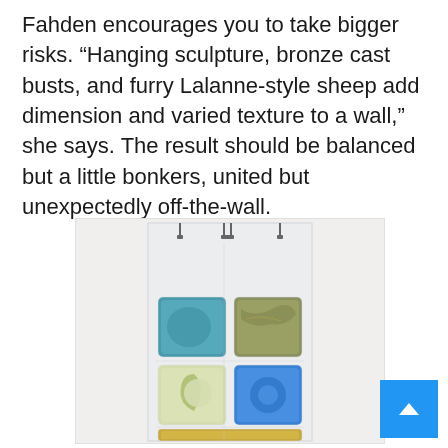Fahden encourages you to take bigger risks. “Hanging sculpture, bronze cast busts, and furry Lalanne-style sheep add dimension and varied texture to a wall,” she says. The result should be balanced but a little bonkers, united but unexpectedly off-the-wall.
[Figure (photo): A vertical hanging sculpture or display panel showing six square/rectangular glass or ceramic tiles arranged in a 2-column grid on a clear acrylic panel. The tiles include a teal blue square, an olive/brown marbled square, a pale green square with a crescent shape, a bright blue square, a brown/burgundy square, and a long narrow amber/yellow rectangular tile at the bottom. The panel has metal hanging hardware at the top.]